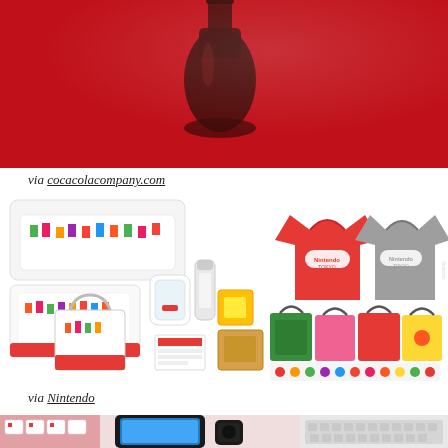[Figure (photo): Red background with Coca-Cola glass bottle, partial view at top of page]
via cocacolacompany.com
[Figure (photo): Nintendo Tokyo merchandise collection including t-shirts, bags, pillows, tote bags, phone cases, key chains, cards and other branded items featuring Super Mario characters]
via Nintendo
[Figure (photo): Flat lay of Apple devices including iPhone 7, Apple Watch, and MacBook laptop keyboard on white background with red flowers]